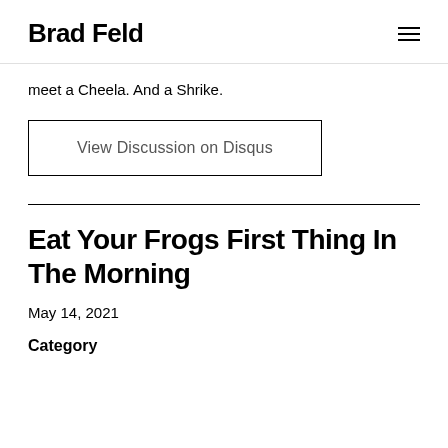Brad Feld
meet a Cheela. And a Shrike.
View Discussion on Disqus
Eat Your Frogs First Thing In The Morning
May 14, 2021
Category